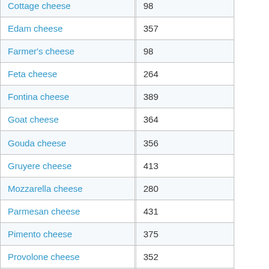| Food | Calories |
| --- | --- |
| Cottage cheese | 98 |
| Edam cheese | 357 |
| Farmer's cheese | 98 |
| Feta cheese | 264 |
| Fontina cheese | 389 |
| Goat cheese | 364 |
| Gouda cheese | 356 |
| Gruyere cheese | 413 |
| Mozzarella cheese | 280 |
| Parmesan cheese | 431 |
| Pimento cheese | 375 |
| Provolone cheese | 352 |
| Queso blanco cheese | 310 |
| Ricotta cheese | 174 |